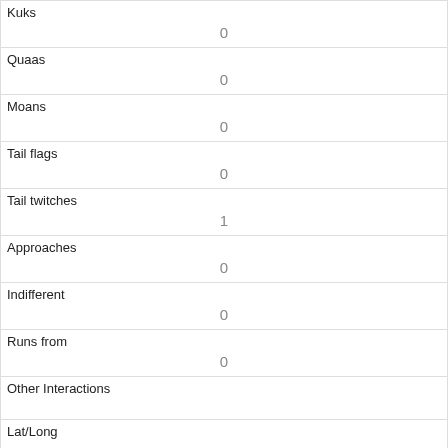| Kuks | 0 |
| Quaas | 0 |
| Moans | 0 |
| Tail flags | 0 |
| Tail twitches | 1 |
| Approaches | 0 |
| Indifferent | 0 |
| Runs from | 0 |
| Other Interactions |  |
| Lat/Long | POINT (-73.9730039581521 40.7730688398468) |